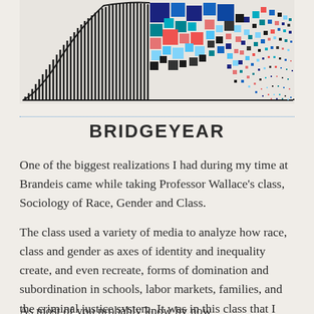[Figure (infographic): An infographic showing a bell-curve-like distribution made of vertical black lines on the left side, transitioning into a colorful mosaic of colored squares (blue, navy, teal, red/salmon, light blue, black) on the right side forming a descending pattern. Background is light gray.]
BRIDGEYEAR
One of the biggest realizations I had during my time at Brandeis came while taking Professor Wallace’s class, Sociology of Race, Gender and Class.
The class used a variety of media to analyze how race, class and gender as axes of identity and inequality create, and even recreate, forms of domination and subordination in schools, labor markets, families, and the criminal justice system. It was in this class that I was able to learn about the term intersectionality.
As most of you probably know by now